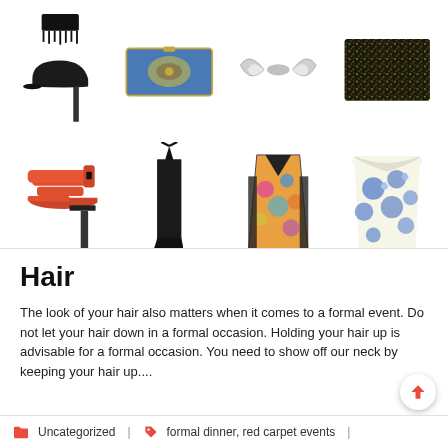[Figure (photo): Fashion collage grid showing 8 items: black heeled sandal with fringe, decorative blue clutch bag, silver wing earrings, gold glitter clutch, black maxi halter dress, colorful print dress, blue floral off-shoulder dress, coral/orange strappy heeled sandal]
Hair
The look of your hair also matters when it comes to a formal event. Do not let your hair down in a formal occasion. Holding your hair up is advisable for a formal occasion. You need to show off our neck by keeping your hair up....
Uncategorized | formal dinner, red carpet events |